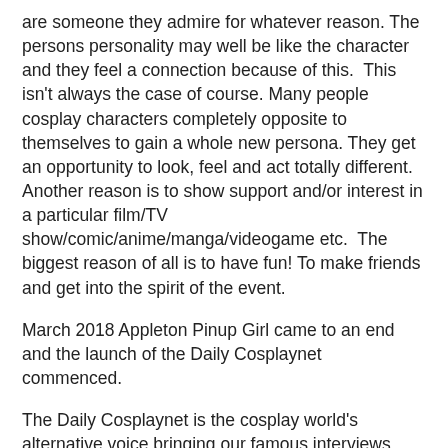are someone they admire for whatever reason. The persons personality may well be like the character and they feel a connection because of this.  This isn't always the case of course. Many people cosplay characters completely opposite to themselves to gain a whole new persona. They get an opportunity to look, feel and act totally different. Another reason is to show support and/or interest in a particular film/TV show/comic/anime/manga/videogame etc.  The biggest reason of all is to have fun! To make friends and get into the spirit of the event.
March 2018 Appleton Pinup Girl came to an end and the launch of the Daily Cosplaynet commenced.
The Daily Cosplaynet is the cosplay world's alternative voice bringing our famous interviews, tutorials, reviews, convention and event coverage and more.
I hope that you enjoy the site, reviews, tutorials, interviews, convention coverage and everything else it has to offer. I have a huge passion for my blog; it gives me many sleepless nights but so much enjoyment.